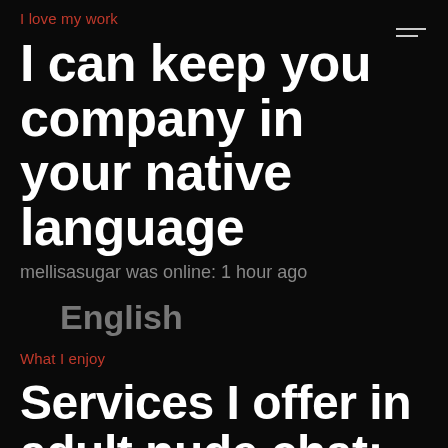I love my work
I can keep you company in your native language
mellisasugar was online: 1 hour ago
English
What I enjoy
Services I offer in adult nude chat: